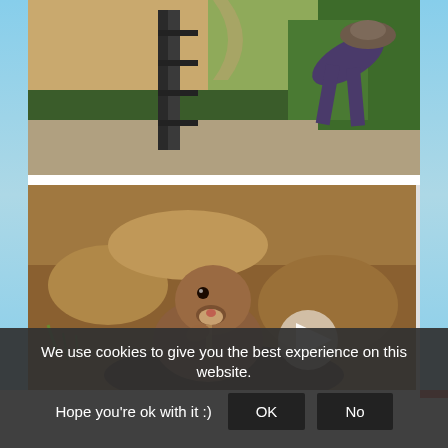[Figure (photo): Person bending over in a garden path with trimmed hedges and stone building in background, outdoors on a sunny day]
[Figure (photo): Close-up of a ground squirrel or prairie dog emerging from its burrow in sandy soil, with a video play button overlay]
We use cookies to give you the best experience on this website. Hope you're ok with it :)  OK  No